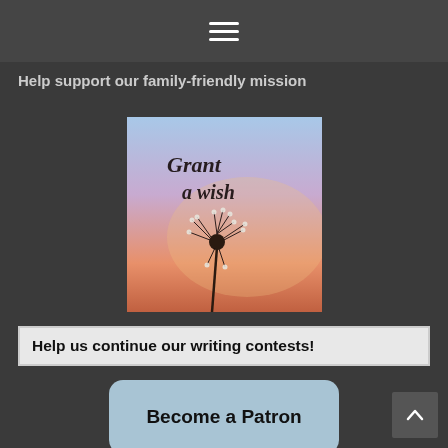Help support our family-friendly mission
[Figure (illustration): A square image with a cursive text overlay reading 'Grant a wish' over a photograph of a dandelion silhouetted against a warm sunset sky]
Help us continue our writing contests!
Become a Patron